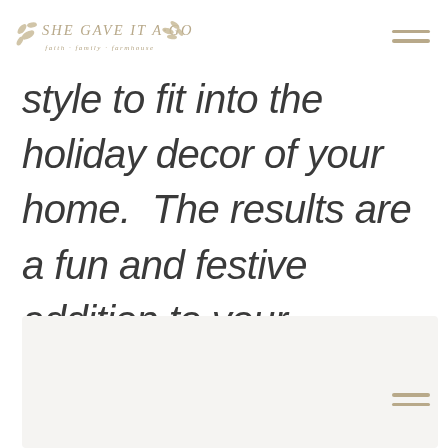SHE GAVE IT A GO — faith · family · farmhouse
style to fit into the holiday decor of your home.  The results are a fun and festive addition to your Christmas tree to enjoy for years to come.